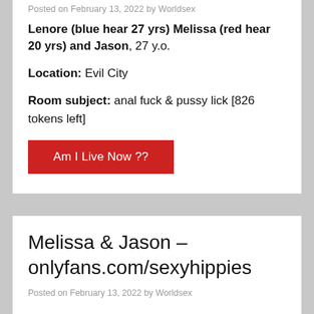Posted on February 13, 2022 by Worldsex
Lenore (blue hear 27 yrs) Melissa (red hear 20 yrs) and Jason, 27 y.o.
Location: Evil City
Room subject: anal fuck & pussy lick [826 tokens left]
Am I Live Now ??
Melissa & Jason – onlyfans.com/sexyhippies
Posted on February 13, 2022 by Worldsex